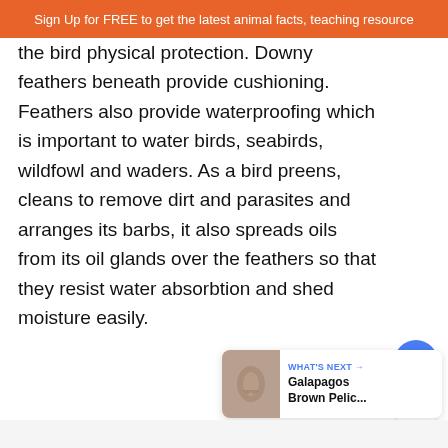Sign Up for FREE to get the latest animal facts, teaching resource
the bird physical protection. Downy feathers beneath provide cushioning. Feathers also provide waterproofing which is important to water birds, seabirds, wildfowl and waders. As a bird preens, cleans to remove dirt and parasites and arranges its barbs, it also spreads oils from its oil glands over the feathers so that they resist water absorbtion and shed moisture easily.
[Figure (other): Social interaction buttons: a blue heart/like button with count '2', and a share button]
[Figure (other): What's Next card showing a thumbnail of a Galapagos Brown Pelican with label 'WHAT'S NEXT' and title 'Galapagos Brown Pelic...']